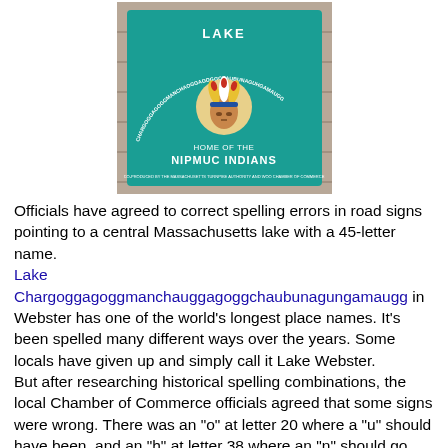[Figure (photo): A teal/green sign reading 'LAKE CHARGOGGAGOGGMANCHAOGGAGOGGCHAUBUNAGUHGAMAUGG HOME OF THE NIPMUC INDIANS' with a Native American chief head logo, set against wooden logs background.]
Officials have agreed to correct spelling errors in road signs pointing to a central Massachusetts lake with a 45-letter name.
Lake Chargoggagoggmanchauggagoggchaubunagungamaugg in Webster has one of the world's longest place names. It's been spelled many different ways over the years. Some locals have given up and simply call it Lake Webster.
But after researching historical spelling combinations, the local Chamber of Commerce officials agreed that some signs were wrong. There was an "o" at letter 20 where a "u" should have been, and an "h" at letter 38 where an "n" should go.
There are many stories and legends about the origin of the Indian name. One popular myth — later debunked — holds